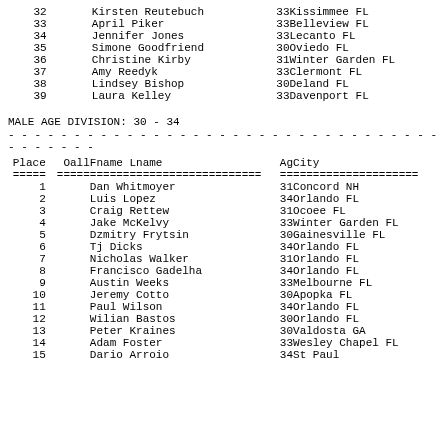| Place | Oall | Fname Lname | Ag | City |
| --- | --- | --- | --- | --- |
| 32 |  | Kirsten Reutebuch | 33 | Kissimmee FL |
| 33 |  | April Piker | 33 | Belleview FL |
| 34 |  | Jennifer Jones | 33 | Lecanto FL |
| 35 |  | Simone Goodfriend | 30 | Oviedo FL |
| 36 |  | Christine Kirby | 31 | Winter Garden FL |
| 37 |  | Amy Reedyk | 33 | Clermont FL |
| 38 |  | Lindsey Bishop | 30 | Deland FL |
| 39 |  | Laura Kelley | 33 | Davenport FL |
MALE AGE DIVISION:  30 - 34
| Place | Oall | Fname | Lname | Ag | City |
| --- | --- | --- | --- | --- | --- |
| 1 |  | Dan Whitmoyer | 31 | Concord NH |
| 2 |  | Luis Lopez | 34 | Orlando FL |
| 3 |  | Craig Rettew | 31 | Ocoee FL |
| 4 |  | Jake McKelvy | 33 | Winter Garden FL |
| 5 |  | Dzmitry Frytsin | 30 | Gainesville FL |
| 6 |  | Tj Dicks | 34 | Orlando FL |
| 7 |  | Nicholas Walker | 31 | Orlando FL |
| 8 |  | Francisco Gadelha | 34 | Orlando FL |
| 9 |  | Austin Weeks | 33 | Melbourne FL |
| 10 |  | Jeremy Cotto | 30 | Apopka FL |
| 11 |  | Paul Wilson | 34 | Orlando FL |
| 12 |  | Wilian Bastos | 30 | Orlando FL |
| 13 |  | Peter Kraines | 30 | Valdosta GA |
| 14 |  | Adam Foster | 33 | Wesley Chapel FL |
| 15 |  | Dario Arroio | 34 | St Paul |